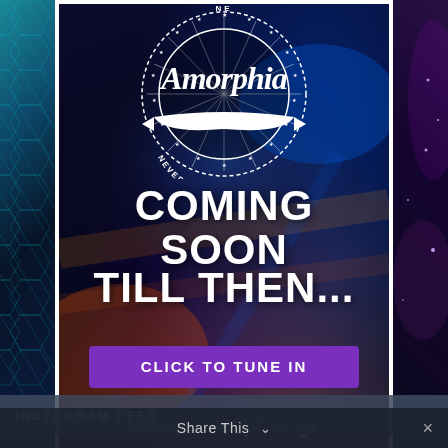[Figure (logo): Amorphia logo — circular stamp design with 'Amorphia' in large script lettering, ring of stars, and 'NEVER STOP DANCING' text around the border, white on dark background]
COMING SOON
TILL THEN...
CLICK TO TUNE IN
www.amorphia.gr
INSTAGRAM FEED
Share This